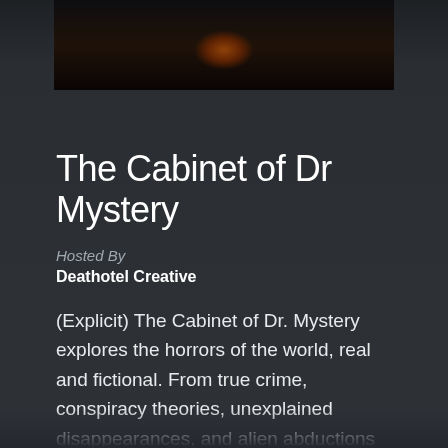[Figure (photo): Dark atmospheric image, partially visible at the top of the page with orange/red glowing lights suggesting a moody horror-themed scene]
The Cabinet of Dr Mystery
Hosted By
Deathotel Creative
(Explicit) The Cabinet of Dr. Mystery explores the horrors of the world, real and fictional. From true crime, conspiracy theories, unexplained disappearances, and alien abductions to Satanism and the occult, our cabinet holds the mysteries of the universe.